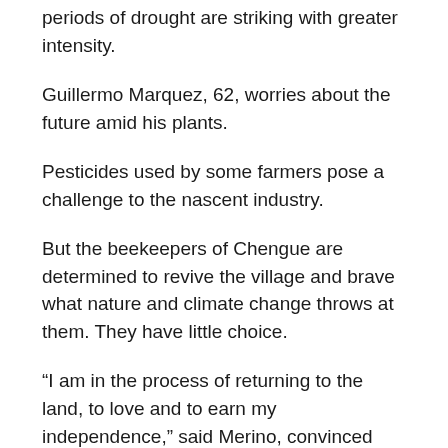periods of drought are striking with greater intensity.
Guillermo Marquez, 62, worries about the future amid his plants.
Pesticides used by some farmers pose a challenge to the nascent industry.
But the beekeepers of Chengue are determined to revive the village and brave what nature and climate change throws at them. They have little choice.
“I am in the process of returning to the land, to love and to earn my independence,” said Merino, convinced that the women and their bees will yet become “the masters of the territory.”